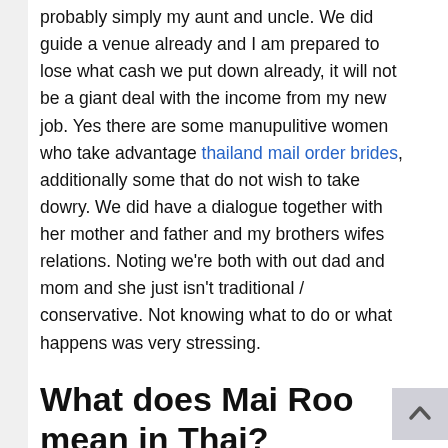probably simply my aunt and uncle. We did guide a venue already and I am prepared to lose what cash we put down already, it will not be a giant deal with the income from my new job. Yes there are some manupulitive women who take advantage thailand mail order brides, additionally some that do not wish to take dowry. We did have a dialogue together with her mother and father and my brothers wifes relations. Noting we're both with out dad and mom and she just isn't traditional / conservative. Not knowing what to do or what happens was very stressing.
What does Mai Roo mean in Thai?